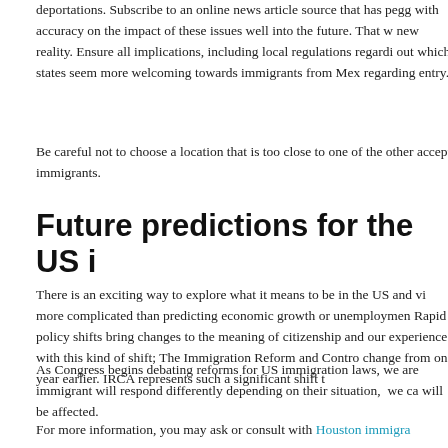deportations. Subscribe to an online news article source that has pegg with accuracy on the impact of these issues well into the future. That w new reality. Ensure all implications, including local regulations regardi out which states seem more welcoming towards immigrants from Mex regarding entry.
Be careful not to choose a location that is too close to one of the other accept immigrants.
Future predictions for the US i
There is an exciting way to explore what it means to be in the US and vi more complicated than predicting economic growth or unemploymen Rapid policy shifts bring changes to the meaning of citizenship and our experience with this kind of shift; The Immigration Reform and Contro change from one year earlier. IRCA represents such a significant shift t
As Congress begins debating reforms for US immigration laws, we are immigrant will respond differently depending on their situation,  we ca will be affected.
For more information, you may ask or consult with Houston immigra